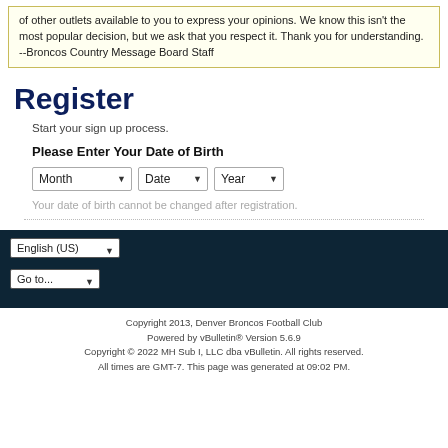of other outlets available to you to express your opinions. We know this isn't the most popular decision, but we ask that you respect it. Thank you for understanding. --Broncos Country Message Board Staff
Register
Start your sign up process.
Please Enter Your Date of Birth
Your date of birth cannot be changed after registration.
Copyright 2013, Denver Broncos Football Club
Powered by vBulletin® Version 5.6.9
Copyright © 2022 MH Sub I, LLC dba vBulletin. All rights reserved.
All times are GMT-7. This page was generated at 09:02 PM.